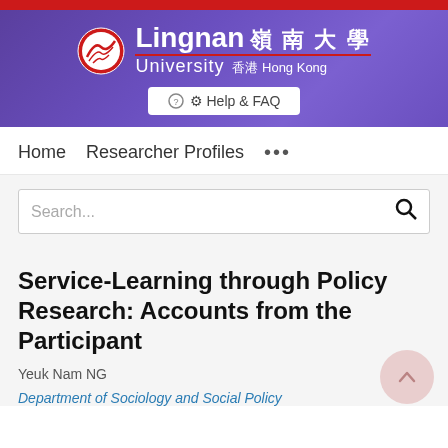[Figure (logo): Lingnan University Hong Kong logo with circular emblem, Chinese characters 嶺南大學 and text 'Lingnan University 香港 Hong Kong' on purple/blue gradient background with Help & FAQ button]
Home   Researcher Profiles   ...
Search...
Service-Learning through Policy Research: Accounts from the Participant
Yeuk Nam NG
Department of Sociology and Social Policy